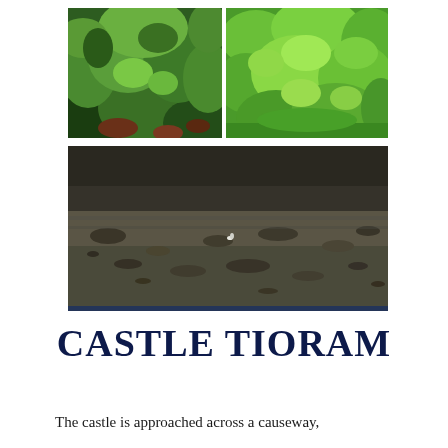[Figure (photo): Two side-by-side photos of green foliage/plants. Left photo shows darker green shrubs with reddish-brown soil. Right photo shows bright lime-green leafy plants.]
[Figure (photo): Wide panoramic photo of a tidal mudflat or sandy beach area with scattered rocks or mud clumps, a small bird visible in the center, dark moody tones.]
CASTLE TIORAM
The castle is approached across a causeway,